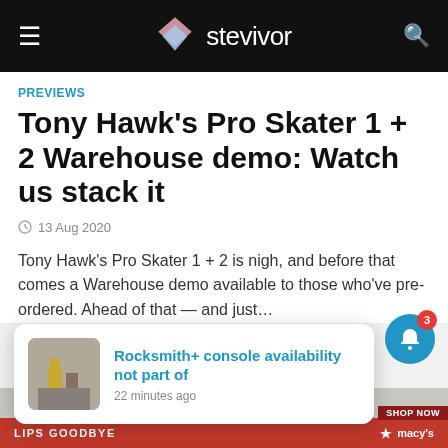stevivor
PREVIEWS
Tony Hawk's Pro Skater 1 + 2 Warehouse demo: Watch us stack it
13 Aug 2020
Tony Hawk's Pro Skater 1 + 2 is nigh, and before that comes a Warehouse demo available to those who've pre-ordered. Ahead of that — and just…
[Figure (photo): Partial view of article image showing colorful interior scene]
Rocksmith+ console availability not part of
22 minutes ago